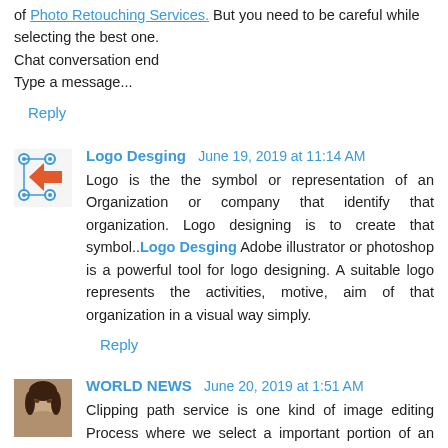of Photo Retouching Services. But you need to be careful while selecting the best one.
Chat conversation end
Type a message...
Reply
Logo Desging  June 19, 2019 at 11:14 AM
Logo is the the symbol or representation of an Organization or company that identify that organization. Logo designing is to create that symbol..Logo Desging Adobe illustrator or photoshop is a powerful tool for logo designing. A suitable logo represents the activities, motive, aim of that organization in a visual way simply.
Reply
[Figure (illustration): Logo Desging avatar - a geometric logo icon with blue nodes and arrows]
WORLD NEWS  June 20, 2019 at 1:51 AM
Clipping path service is one kind of image editing Process where we select a important portion of an image and cut the unimportant part Clipping path We can delete the
[Figure (photo): Photo avatar of a woman with dark hair for WORLD NEWS commenter]